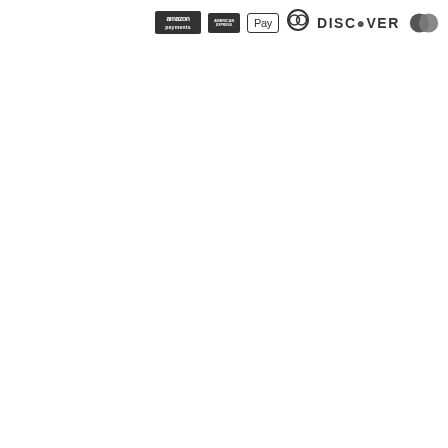[Figure (logo): Row of payment method logos: Amazon Payments, American Express, Apple Pay, Diners Club, Discover, Mastercard, PayPal, Visa — all rendered in dark/black grayscale]